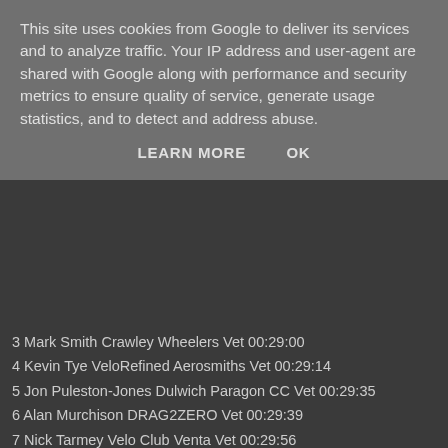This site uses cookies from Google to deliver its services and to analyze traffic. Your IP address and user-agent are shared with Google along with performance and security metrics to ensure quality of service, generate usage statistics, and to detect and address abuse.
LEARN MORE   OK
3 Mark Smith Crawley Wheelers Vet 00:29:00
4 Kevin Tye VeloRefined Aerosmiths Vet 00:29:14
5 Jon Puleston-Jones Dulwich Paragon CC Vet 00:29:35
6 Alan Murchison DRAG2ZERO Vet 00:29:39
7 Nick Tarmey Velo Club Venta Vet 00:29:56
8 Howard Bayley Blazing Saddles Vet 00:30:02
9 Andrew Langdown Blazing Saddles Vet 00:30:26
10 Ben Williams i-team Cyclists Club Esp 00:30:50
11 Stuart McPhail Royal Navy & Royal Marines CA Sen 00:30:5…
12 James Fawcett …a3crg Vet 00:31:01
13 Colin McDermott Festival Road Club Vet 00:31:04
14 Andrew Thomas …a3crg Sen 00:31:11
15 David Shepherd …a3crg Vet 00:31:19
16 Rhys Thomas Southampton University RC Sen 00:31:27
17 Stuart Ashley Loch Leven Cycles RT Vet 00:31:30
18 Alex Allen Royal Navy & Royal Marines CA Sen 00:31:34
19 Adrian Blacker C and N Cycles RT Vet 00:31:44